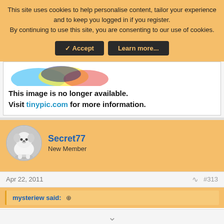This site uses cookies to help personalise content, tailor your experience and to keep you logged in if you register.
By continuing to use this site, you are consenting to our use of cookies.
✓ Accept  Learn more...
[Figure (screenshot): Tinypic image placeholder with colorful design elements at top]
This image is no longer available. Visit tinypic.com for more information.
Secret77
New Member
Apr 22, 2011  #313
mysteriew said: ↑